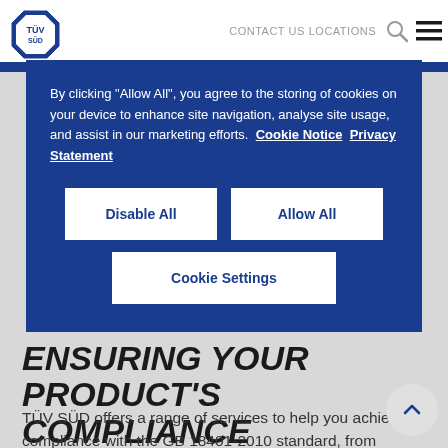[Figure (logo): TÜV SÜD logo - blue octagon with TÜV text]
CONTACT US   LOCATIONS
By clicking "Allow All", you agree to the storing of cookies on your device to enhance site navigation, analyse site usage, and assist in our marketing efforts.  Cookie Notice  Privacy Statement
Disable All
Allow All
Cookie Settings
ENSURING YOUR PRODUCT'S COMPLIANCE
TÜV SÜD offers a range of services to help you achieve compliance with the GB 18401-2010 standard, from testing solutions to technical knowledge support: